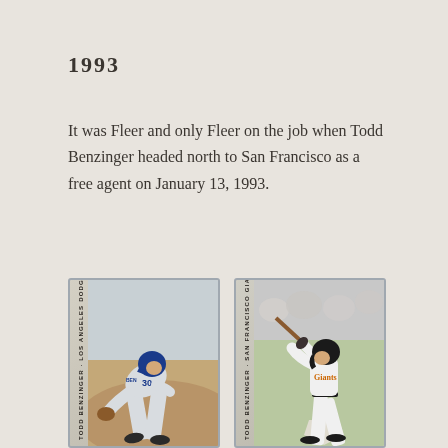1993
It was Fleer and only Fleer on the job when Todd Benzinger headed north to San Francisco as a free agent on January 13, 1993.
[Figure (photo): Two baseball trading cards side by side. Left card: Todd Benzinger, Los Angeles Dodgers, OF/1B — player in Dodgers uniform fielding in a crouched position. Right card: Todd Benzinger, San Francisco Giants, 1B — player in Giants uniform in batting stance.]